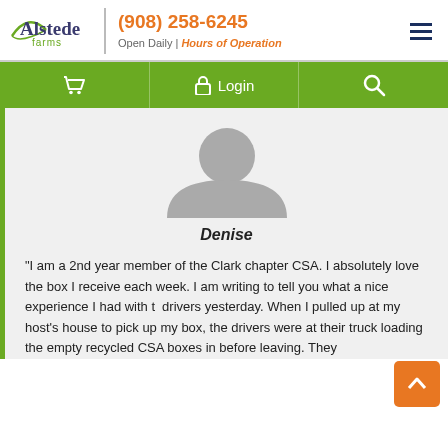Alstede farms | (908) 258-6245 | Open Daily | Hours of Operation
[Figure (screenshot): Green navigation bar with shopping cart icon, Login with lock icon, and search magnifying glass icon on white/green background]
[Figure (illustration): Gray placeholder avatar silhouette (person profile icon)]
Denise
“I am a 2nd year member of the Clark chapter CSA. I absolutely love the box I receive each week. I am writing to tell you what a nice experience I had with the drivers yesterday. When I pulled up at my host’s house to pick up my box, the drivers were at their truck loading the empty recycled CSA boxes in before leaving. They